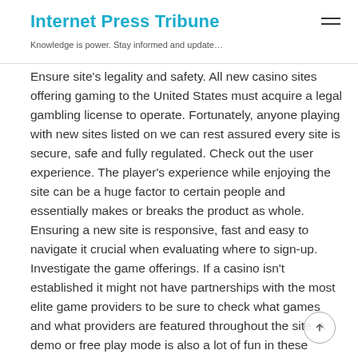Internet Press Tribune
Knowledge is power. Stay informed and update…
Ensure site's legality and safety. All new casino sites offering gaming to the United States must acquire a legal gambling license to operate. Fortunately, anyone playing with new sites listed on we can rest assured every site is secure, safe and fully regulated. Check out the user experience. The player's experience while enjoying the site can be a huge factor to certain people and essentially makes or breaks the product as whole. Ensuring a new site is responsive, fast and easy to navigate it crucial when evaluating where to sign-up. Investigate the game offerings. If a casino isn't established it might not have partnerships with the most elite game providers to be sure to check what games and what providers are featured throughout the site. A demo or free play mode is also a lot of fun in these cases and typically...